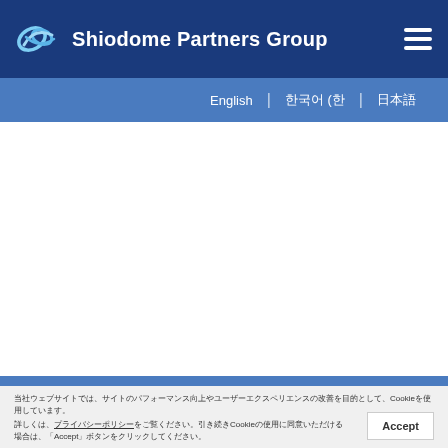Shiodome Partners Group
English | 한국어 (한 | 日本語
[Figure (other): Main white content area - appears to be a blank/loading slider or hero image area]
当社ウェブサイトでは、サイトのパフォーマンス向上やユーザーエクスペリエンスの改善を目的として、Cookieを使用しています。
詳しくは、プライバシーポリシーをご覧ください。引き続きCookieの使用に同意いただける場合は、「Accept」ボタンをクリックしてください。
Accept